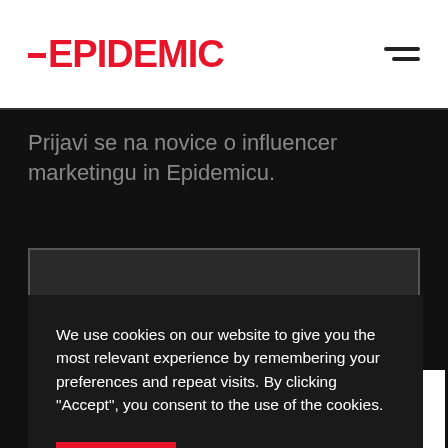EPIDEMIC
Prijavi se na novice o influencer marketingu in Epidemicu.
We use cookies on our website to give you the most relevant experience by remembering your preferences and repeat visits. By clicking “Accept”, you consent to the use of the cookies.
Accept All   Reject all